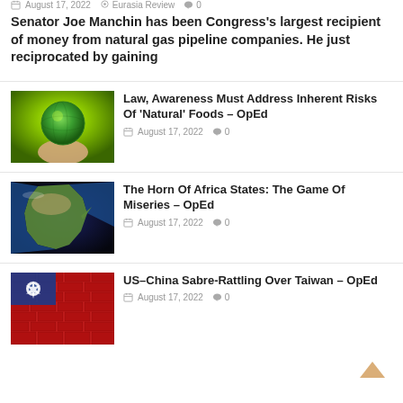August 17, 2022  Eurasia Review  0
Senator Joe Manchin has been Congress's largest recipient of money from natural gas pipeline companies. He just reciprocated by gaining
[Figure (photo): A hand holding a glowing green Earth globe against a bright green background]
Law, Awareness Must Address Inherent Risks Of 'Natural' Foods – OpEd
August 17, 2022  0
[Figure (photo): Satellite image of the Horn of Africa from space]
The Horn Of Africa States: The Game Of Miseries – OpEd
August 17, 2022  0
[Figure (photo): Taiwan flag painted on a brick wall]
US–China Sabre-Rattling Over Taiwan – OpEd
August 17, 2022  0